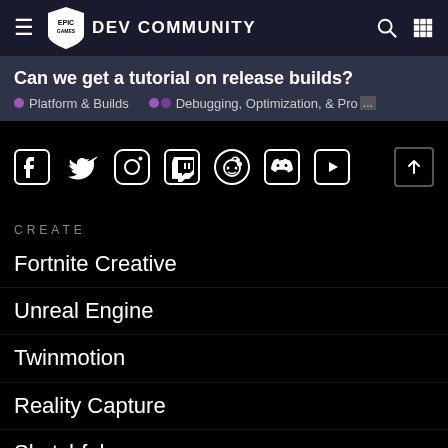Epic Games Dev Community
Can we get a tutorial on release builds?
• Platform & Builds  •• Debugging, Optimization, & Pro... ...
[Figure (infographic): Social media icons row: Facebook, Twitter, Instagram, Twitch, Reddit, Discord, YouTube, and an up-arrow scroll button]
CREATE
Fortnite Creative
Unreal Engine
Twinmotion
Reality Capture
Sketchfab
MetaHuman